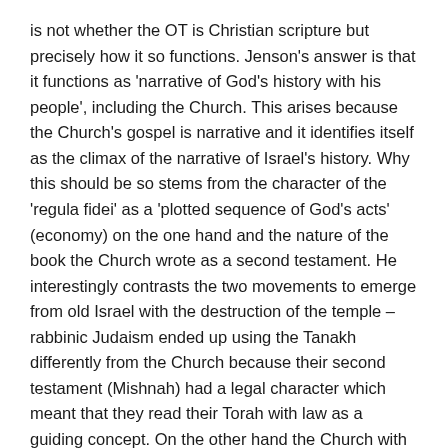is not whether the OT is Christian scripture but precisely how it so functions. Jenson's answer is that it functions as 'narrative of God's history with his people', including the Church. This arises because the Church's gospel is narrative and it identifies itself as the climax of the narrative of Israel's history. Why this should be so stems from the character of the 'regula fidei' as a 'plotted sequence of God's acts' (economy) on the one hand and the nature of the book the Church wrote as a second testament. He interestingly contrasts the two movements to emerge from old Israel with the destruction of the temple – rabbinic Judaism ended up using the Tanakh differently from the Church because their second testament (Mishnah) had a legal character which meant that they read their Torah with law as a guiding concept. On the other hand the Church with its narrative gospel ended up contextualising law within the narrative of God with his people. This also had a lot to do with Paul's very complex problematisation of the law.
The 'how' question in relation to the role of the OT was forged in contrast to various challenges to the initial role of the OT –